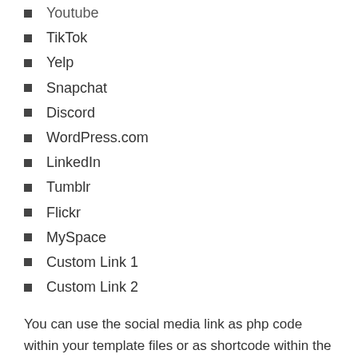Youtube
TikTok
Yelp
Snapchat
Discord
WordPress.com
LinkedIn
Tumblr
Flickr
MySpace
Custom Link 1
Custom Link 2
You can use the social media link as php code within your template files or as shortcode within the editor and your existing widgets.
SUPPORT